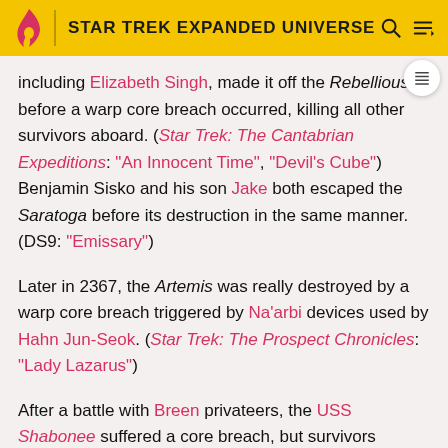STAR TREK EXPANDED UNIVERSE
including Elizabeth Singh, made it off the Rebellious before a warp core breach occurred, killing all other survivors aboard. (Star Trek: The Cantabrian Expeditions: "An Innocent Time", "Devil's Cube") Benjamin Sisko and his son Jake both escaped the Saratoga before its destruction in the same manner. (DS9: "Emissary")
Later in 2367, the Artemis was really destroyed by a warp core breach triggered by Na'arbi devices used by Hahn Jun-Seok. (Star Trek: The Prospect Chronicles: "Lady Lazarus")
After a battle with Breen privateers, the USS Shabonee suffered a core breach, but survivors evacuated on the saucer section. (Star Trek: Shabonee: "Scream")